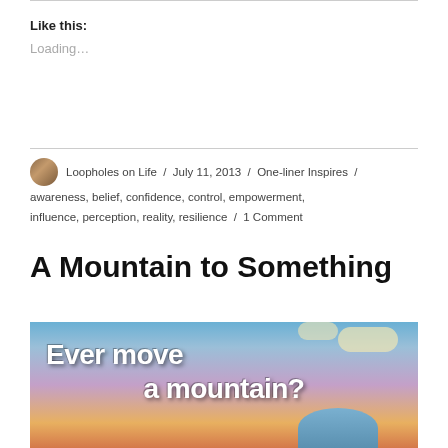Like this:
Loading...
Loopholes on Life / July 11, 2013 / One-liner Inspires / awareness, belief, confidence, control, empowerment, influence, perception, reality, resilience / 1 Comment
A Mountain to Something
[Figure (photo): Blog post image with sky background showing text 'Ever move a mountain?' in bold white letters with mountain silhouette partially visible at bottom]